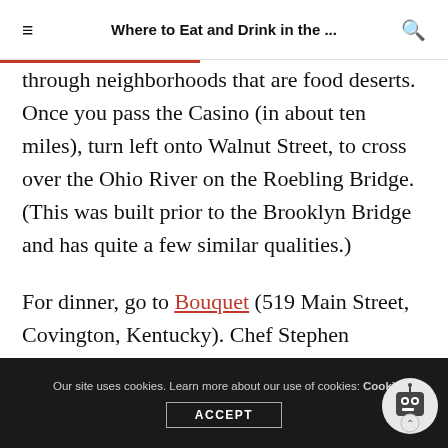Where to Eat and Drink in the ...
through neighborhoods that are food deserts. Once you pass the Casino (in about ten miles), turn left onto Walnut Street, to cross over the Ohio River on the Roebling Bridge. (This was built prior to the Brooklyn Bridge and has quite a few similar qualities.)
For dinner, go to Bouquet (519 Main Street, Covington, Kentucky). Chef Stephen Williams and his team are always ready to surprise you with culinary delights, inspired by the region's bounty. It is also highlights the
Our site uses cookies. Learn more about our use of cookies: Cookie Policy  ACCEPT